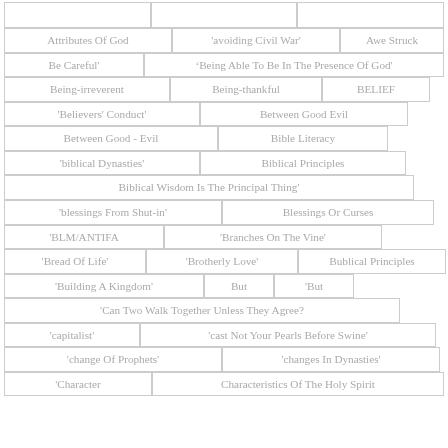Attributes Of God
'avoiding Civil War'
Awe Struck
Be Careful'
'Being Able To Be In The Presence Of God'
Being-irreverent
Being-thankful
BELIEF
'Believers' Conduct'
Between Good Evil
Between Good - Evil
Bible Literacy
'biblical Dynasties'
Biblical Principles
Biblical Wisdom Is The Principal Thing'
'blessings From Shut-in'
Blessings Or Curses
'BLM/ANTIFA
'Branches On The Vine'
'Bread Of Life'
'Brotherly Love'
Bublical Principles
'Building A Kingdom'
But
'But
'Can Two Walk Together Unless They Agree?
'capitalist'
'cast Not Your Pearls Before Swine'
'change Of Prophets'
'changes In Dynasties'
'Character
Characteristics Of The Holy Spirit